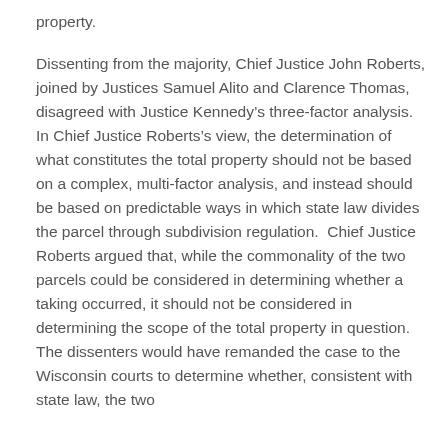property.
Dissenting from the majority, Chief Justice John Roberts, joined by Justices Samuel Alito and Clarence Thomas, disagreed with Justice Kennedy's three-factor analysis.  In Chief Justice Roberts's view, the determination of what constitutes the total property should not be based on a complex, multi-factor analysis, and instead should be based on predictable ways in which state law divides the parcel through subdivision regulation.  Chief Justice Roberts argued that, while the commonality of the two parcels could be considered in determining whether a taking occurred, it should not be considered in determining the scope of the total property in question.  The dissenters would have remanded the case to the Wisconsin courts to determine whether, consistent with state law, the two